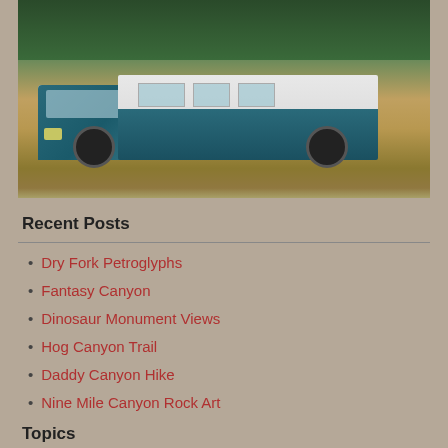[Figure (photo): A teal and white RV/motorhome parked on dry grassland with trees in background]
Recent Posts
Dry Fork Petroglyphs
Fantasy Canyon
Dinosaur Monument Views
Hog Canyon Trail
Daddy Canyon Hike
Nine Mile Canyon Rock Art
Topics